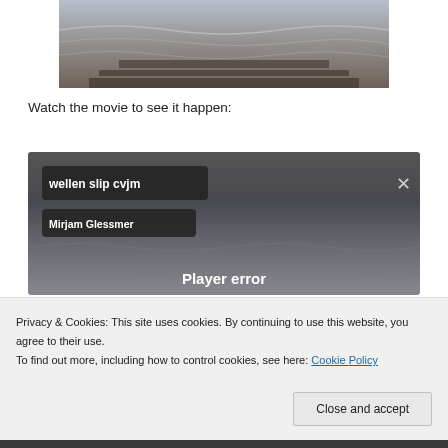[Figure (photo): Photograph of ocean waves with a wooden surface in the foreground]
Watch the movie to see it happen:
[Figure (screenshot): Video player screenshot showing 'wellen slip cvjm' title badge, 'Mirjam Glessmer' author badge, an X close button, and 'Player error' text at the bottom. Background shows water/ocean imagery.]
Privacy & Cookies: This site uses cookies. By continuing to use this website, you agree to their use.
To find out more, including how to control cookies, see here: Cookie Policy
Close and accept